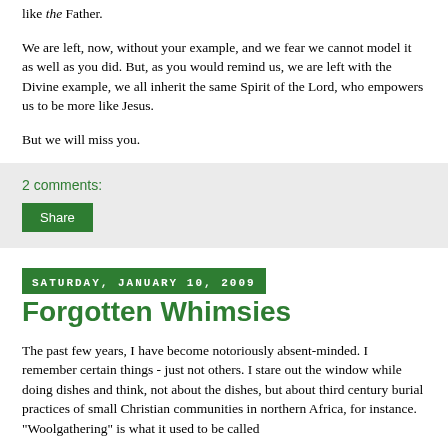like the Father.
We are left, now, without your example, and we fear we cannot model it as well as you did. But, as you would remind us, we are left with the Divine example, we all inherit the same Spirit of the Lord, who empowers us to be more like Jesus.
But we will miss you.
2 comments:
Share
Saturday, January 10, 2009
Forgotten Whimsies
The past few years, I have become notoriously absent-minded. I remember certain things - just not others. I stare out the window while doing dishes and think, not about the dishes, but about third century burial practices of small Christian communities in northern Africa, for instance. "Woolgathering" is what it used to be called